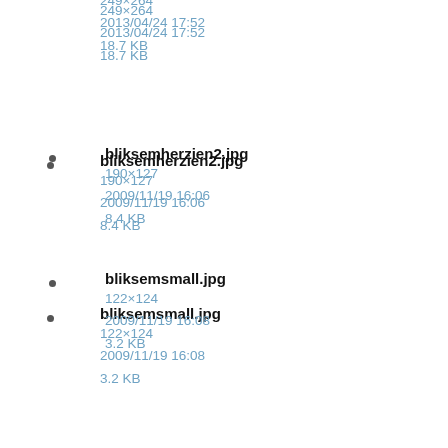249×264
2013/04/24 17:52
18.7 KB
bliksemherzien2.jpg
190×127
2009/11/19 16:06
8.4 KB
bliksemsmall.jpg
122×124
2009/11/19 16:08
3.2 KB
brian_schmidt_head.jpg
733×955
2014/03/12 08:47
79.8 KB
clancy_2.jpg
74×78
2010/08/30 14:34